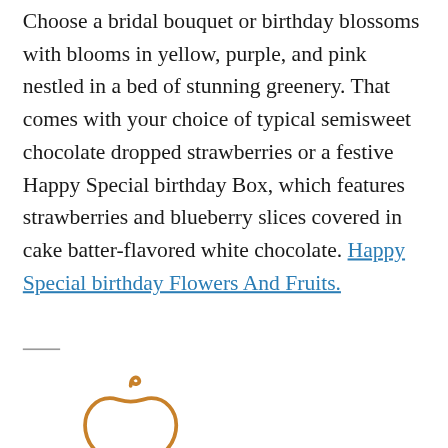Choose a bridal bouquet or birthday blossoms with blooms in yellow, purple, and pink nestled in a bed of stunning greenery. That comes with your choice of typical semisweet chocolate dropped strawberries or a festive Happy Special birthday Box, which features strawberries and blueberry slices covered in cake batter-flavored white chocolate. Happy Special birthday Flowers And Fruits.
[Figure (illustration): Outline illustration of an apple in orange/golden color, showing only the contour outline of an apple shape with a small stem curl at the top, partial view at bottom of page.]